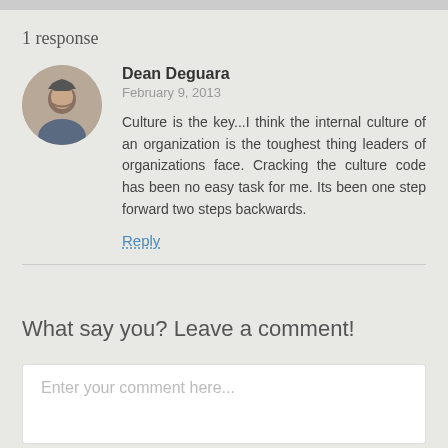1 response
Dean Deguara
February 9, 2013
Culture is the key...I think the internal culture of an organization is the toughest thing leaders of organizations face. Cracking the culture code has been no easy task for me. Its been one step forward two steps backwards.
Reply
What say you? Leave a comment!
Enter your comment here...